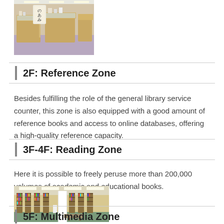[Figure (photo): A photo of a Japanese library/bookshop display counter with a sign reading in Japanese characters]
2F: Reference Zone
Besides fulfilling the role of the general library service counter, this zone is also equipped with a good amount of reference books and access to online databases, offering a high-quality reference capacity.
3F-4F: Reading Zone
Here it is possible to freely peruse more than 200,000 volumes of academic and educational books.
[Figure (photo): Interior photo of a library reading zone with bookshelves, green carpet, ceiling lights, and a central pillar]
5F: Multimedia Zone